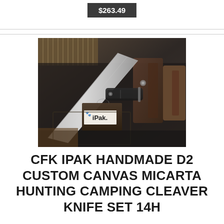$263.49
[Figure (photo): Product photo showing a handmade cleaver knife set with canvas micarta handles, leather sheaths, and an iPak branded box, laid out on a dark surface with other knives and tools]
CFK IPAK HANDMADE D2 CUSTOM CANVAS MICARTA HUNTING CAMPING CLEAVER KNIFE SET 14H